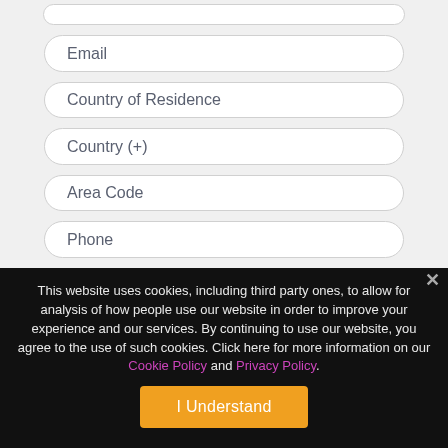Email
Country of Residence
Country (+)
Area Code
Phone
This website uses cookies, including third party ones, to allow for analysis of how people use our website in order to improve your experience and our services. By continuing to use our website, you agree to the use of such cookies. Click here for more information on our Cookie Policy and Privacy Policy.
I Understand